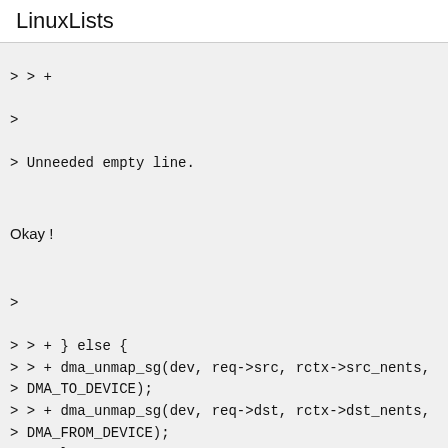LinuxLists
> > +
>
> Unneeded empty line.

Okay !

>
> > + } else {
> > + dma_unmap_sg(dev, req->src, rctx->src_nents, DMA_TO_DEVICE);
> > + dma_unmap_sg(dev, req->dst, rctx->dst_nents,
> DMA_FROM_DEVICE);
> > + }
> > +
> > + return aspeed_sk_complete(hace_dev, 0); }
> > +
>